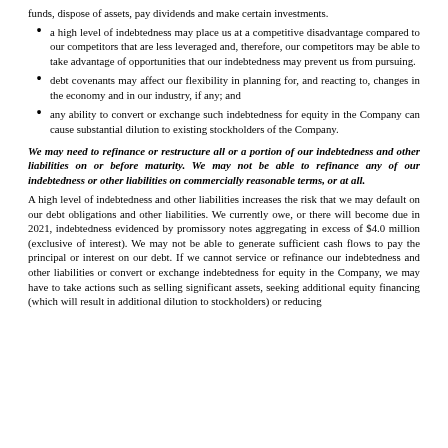funds, dispose of assets, pay dividends and make certain investments.
a high level of indebtedness may place us at a competitive disadvantage compared to our competitors that are less leveraged and, therefore, our competitors may be able to take advantage of opportunities that our indebtedness may prevent us from pursuing.
debt covenants may affect our flexibility in planning for, and reacting to, changes in the economy and in our industry, if any; and
any ability to convert or exchange such indebtedness for equity in the Company can cause substantial dilution to existing stockholders of the Company.
We may need to refinance or restructure all or a portion of our indebtedness and other liabilities on or before maturity. We may not be able to refinance any of our indebtedness or other liabilities on commercially reasonable terms, or at all.
A high level of indebtedness and other liabilities increases the risk that we may default on our debt obligations and other liabilities. We currently owe, or there will become due in 2021, indebtedness evidenced by promissory notes aggregating in excess of $4.0 million (exclusive of interest). We may not be able to generate sufficient cash flows to pay the principal or interest on our debt. If we cannot service or refinance our indebtedness and other liabilities or convert or exchange indebtedness for equity in the Company, we may have to take actions such as selling significant assets, seeking additional equity financing (which will result in additional dilution to stockholders) or reducing